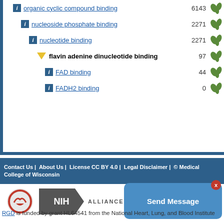organic cyclic compound binding  6143
nucleoside phosphate binding  2271
nucleotide binding  2271
flavin adenine dinucleotide binding  97
FAD binding  44
FADH2 binding  0
Contact Us | About Us | License CC BY 4.0 | Legal Disclaimer | © Medical College of Wisconsin
[Figure (logo): MCW heart lung logo, NIH arrow logo, Alliance logo]
RGD is funded by grant HL64541 from the National Heart, Lung, and Blood Institute